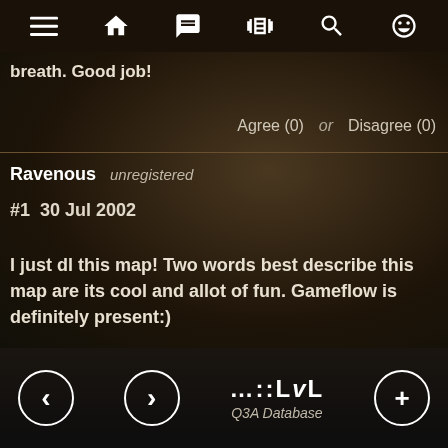Navigation bar with menu, home, chat, vibrate, search, emoji icons
breath. Good job!
Agree (0)  or  Disagree (0)
Ravenous   unregistered
#1  30 Jul 2002
I just dl this map! Two words best describe this map are its cool and allot of fun. Gameflow is definitely present:)
Agree (0)  or  Disagree (0)
...::LvL Q3A Database